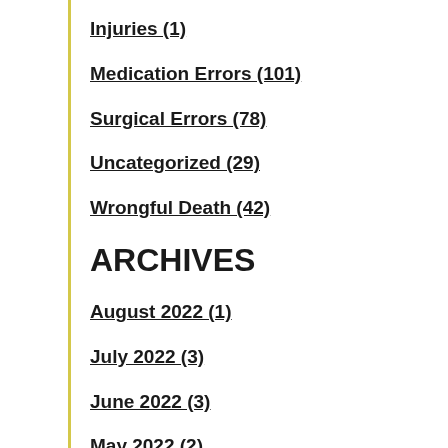Injuries (1)
Medication Errors (101)
Surgical Errors (78)
Uncategorized (29)
Wrongful Death (42)
ARCHIVES
August 2022 (1)
July 2022 (3)
June 2022 (3)
May 2022 (2)
April 2022 (3)
March 2022 (2)